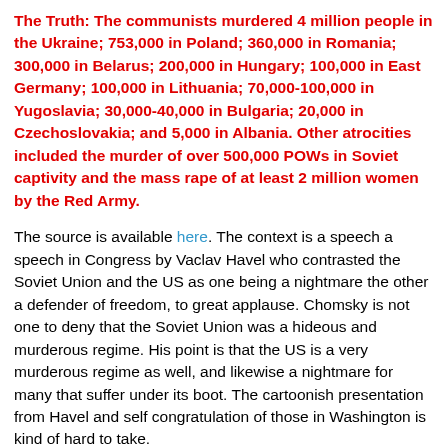The Truth: The communists murdered 4 million people in the Ukraine; 753,000 in Poland; 360,000 in Romania; 300,000 in Belarus; 200,000 in Hungary; 100,000 in East Germany; 100,000 in Lithuania; 70,000-100,000 in Yugoslavia; 30,000-40,000 in Bulgaria; 20,000 in Czechoslovakia; and 5,000 in Albania. Other atrocities included the murder of over 500,000 POWs in Soviet captivity and the mass rape of at least 2 million women by the Red Army.
The source is available here. The context is a speech a speech in Congress by Vaclav Havel who contrasted the Soviet Union and the US as one being a nightmare the other a defender of freedom, to great applause. Chomsky is not one to deny that the Soviet Union was a hideous and murderous regime. His point is that the US is a very murderous regime as well, and likewise a nightmare for many that suffer under its boot. The cartoonish presentation from Havel and self congratulation of those in Washington is kind of hard to take.
He asks us to consider Southeast Asia, Central America, and the West Bank. The West Bank is regarded as the world's